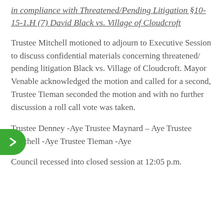in compliance with Threatened/Pending Litigation §10-15-1.H (7) David Black vs. Village of Cloudcroft
Trustee Mitchell motioned to adjourn to Executive Session to discuss confidential materials concerning threatened/ pending litigation Black vs. Village of Cloudcroft. Mayor Venable acknowledged the motion and called for a second, Trustee Tieman seconded the motion and with no further discussion a roll call vote was taken.
Trustee Denney -Aye Trustee Maynard – Aye Trustee Mitchell -Aye Trustee Tieman -Aye
Council recessed into closed session at 12:05 p.m.